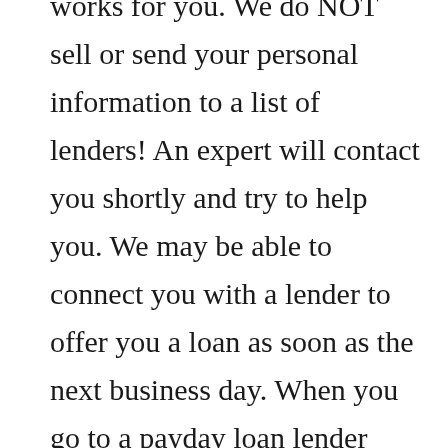works for you. We do NOT sell or send your personal information to a list of lenders! An expert will contact you shortly and try to help you. We may be able to connect you with a lender to offer you a loan as soon as the next business day. When you go to a payday loan lender Payday Loans Boscobel Wisconsin in Wisconsin – be in online or in person – you must be at least 18 years of age. Clare Bank Boscobel branch operates as a full service office. For lobby hours, drive-up hours and online banking services please visit the